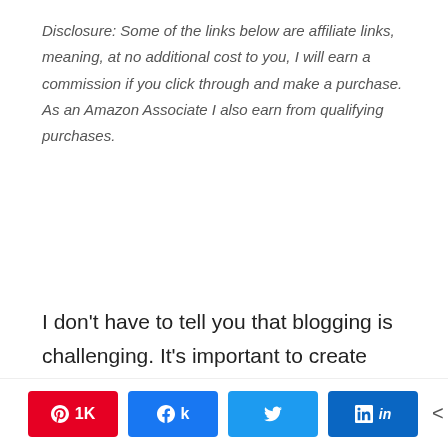Disclosure: Some of the links below are affiliate links, meaning, at no additional cost to you, I will earn a commission if you click through and make a purchase. As an Amazon Associate I also earn from qualifying purchases.
I don't have to tell you that blogging is challenging. It's important to create content that your audience wants to see. We get all these ideas that we would like to see, we think they are awesome, we think this is going to the post that pulls in tons of traffic and then crickets.
It can be very frustrating experimenting post after post with no real direction. It's so tough. We all want to
A 1K  f  t  in  < 1K SHARES